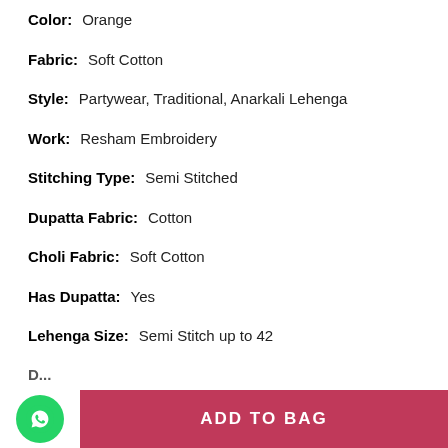Color: Orange
Fabric: Soft Cotton
Style: Partywear, Traditional, Anarkali Lehenga
Work: Resham Embroidery
Stitching Type: Semi Stitched
Dupatta Fabric: Cotton
Choli Fabric: Soft Cotton
Has Dupatta: Yes
Lehenga Size: Semi Stitch up to 42
[Figure (other): WhatsApp contact button (green circle with phone icon) and Add to Bag button (crimson/pink background, white text)]